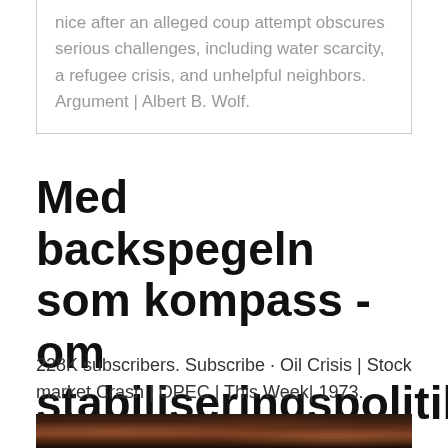nice after an alleged coup attempt obscures serious challenges, including water scarcity, a refugee crisis, and unhelpful neighbors. Argument | Albert B. Wolf.
Med backspegeln som kompass - om stabiliseringspolitiken
228K subscribers. Subscribe · Oil Crisis | Stock market Crash | OPEC | This Week| 1973.
[Figure (photo): Dark textured photographic image, appearing to show figures or crowd, dark reddish-brown tones]